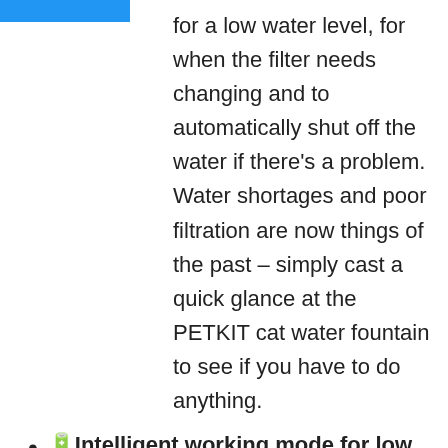for a low water level, for when the filter needs changing and to automatically shut off the water if there's a problem. Water shortages and poor filtration are now things of the past – simply cast a quick glance at the PETKIT cat water fountain to see if you have to do anything.
🔋Intelligent working mode for low power consumption🔋 this pet water dispenser comes with two modes, depending on how you use it. When set to SMART mode, the pump runs